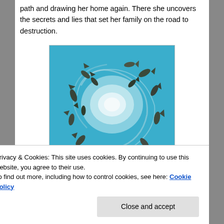path and drawing her home again. There she uncovers the secrets and lies that set her family on the road to destruction.
[Figure (illustration): Book cover showing a swirling underwater scene with fish swimming in a vortex around a bright white center, painted in blue and white tones. Below the painting is the text 'CATCHING' in large bold letters.]
Privacy & Cookies: This site uses cookies. By continuing to use this website, you agree to their use.
To find out more, including how to control cookies, see here: Cookie Policy